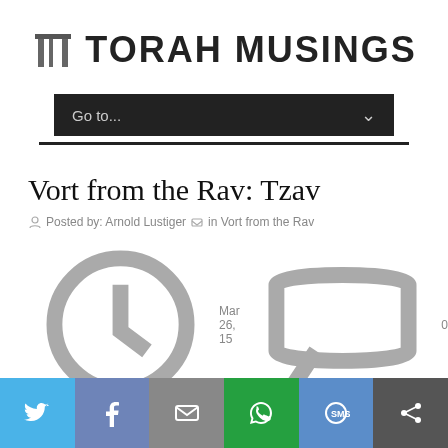TORAH MUSINGS
[Figure (screenshot): Torah Musings navigation dropdown showing 'Go to...' menu]
Vort from the Rav: Tzav
Posted by: Arnold Lustiger  in Vort from the Rav  Mar 26, 15  0
[Figure (screenshot): Print PDF Email action bar and book thumbnail image]
[Figure (screenshot): Social share bar with Twitter, Facebook, Email, WhatsApp, SMS, Share buttons]